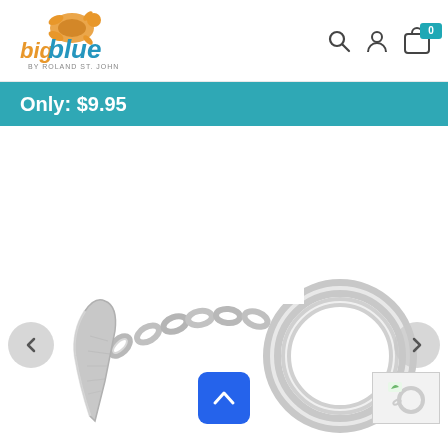[Figure (logo): Big Blue by Roland St. John logo with turtle graphic, orange and blue text]
Only: $9.95
[Figure (photo): Silver keychain with chain links and a large split ring, with a pendant charm]